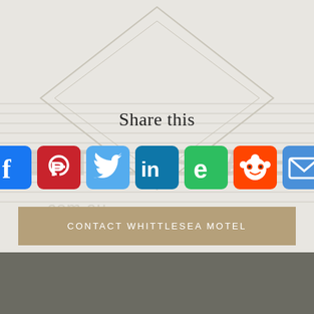[Figure (logo): Whittlesea Motel watermark logo with diamond shape and horizontal lines on light gray background, with text WHITTLESEA MOTEL and .com.au]
Share this
[Figure (infographic): Row of 7 social media sharing icon buttons: Facebook (blue), Pinterest (red), Twitter (light blue), LinkedIn (teal/blue), Evernote (green), Reddit (orange-red), Email (blue)]
CONTACT WHITTLESEA MOTEL